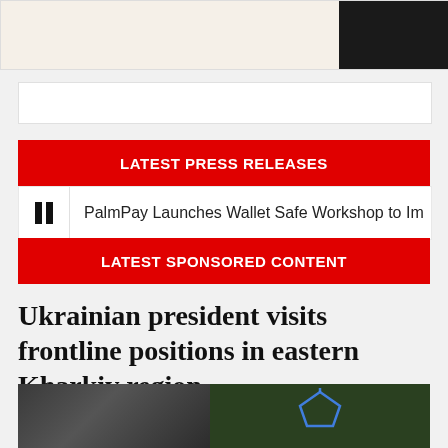[Figure (photo): Top strip image showing partial background and dark right panel]
[Figure (other): White advertisement banner]
LATEST PRESS RELEASES
PalmPay Launches Wallet Safe Workshop to Im
LATEST SPONSORED CONTENT
Ukrainian president visits frontline positions in eastern Kharkiv region
[Figure (photo): Photo of Ukrainian president Zelensky in military attire seated before a screen with Ukrainian emblem]